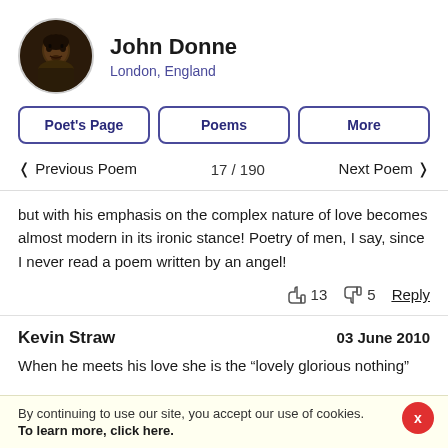John Donne
London, England
Poet's Page
Poems
More
< Previous Poem   17 / 190   Next Poem >
but with his emphasis on the complex nature of love becomes almost modern in its ironic stance! Poetry of men, I say, since I never read a poem written by an angel!
👍 13  👎 5  Reply
Kevin Straw   03 June 2010
When he meets his love she is the “lovely glorious nothing”
By continuing to use our site, you accept our use of cookies. To learn more, click here.